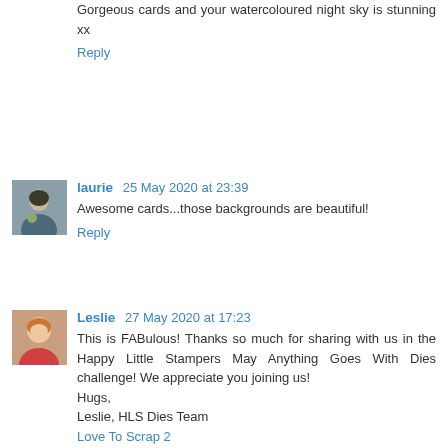Gorgeous cards and your watercoloured night sky is stunning xx
Reply
[Figure (photo): Small square avatar photo of a person outdoors with a dog]
laurie  25 May 2020 at 23:39
Awesome cards...those backgrounds are beautiful!
Reply
[Figure (photo): Small square avatar photo of a smiling woman]
Leslie  27 May 2020 at 17:23
This is FABulous! Thanks so much for sharing with us in the Happy Little Stampers May Anything Goes With Dies challenge! We appreciate you joining us!
Hugs,
Leslie, HLS Dies Team
Love To Scrap 2
Reply